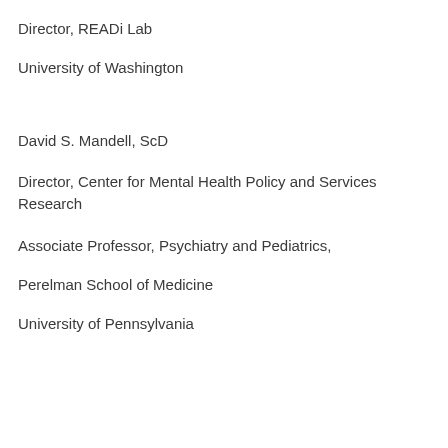Director, READi Lab
University of Washington
David S. Mandell, ScD
Director, Center for Mental Health Policy and Services Research
Associate Professor, Psychiatry and Pediatrics,
Perelman School of Medicine
University of Pennsylvania